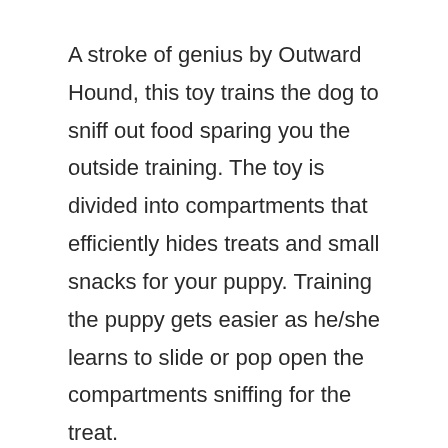A stroke of genius by Outward Hound, this toy trains the dog to sniff out food sparing you the outside training. The toy is divided into compartments that efficiently hides treats and small snacks for your puppy. Training the puppy gets easier as he/she learns to slide or pop open the compartments sniffing for the treat.
The puzzle toy is focused on the mental stimulation of the dog and is as effective as outside training is. However, we have to keep in mind that this should be done with proper vigilance